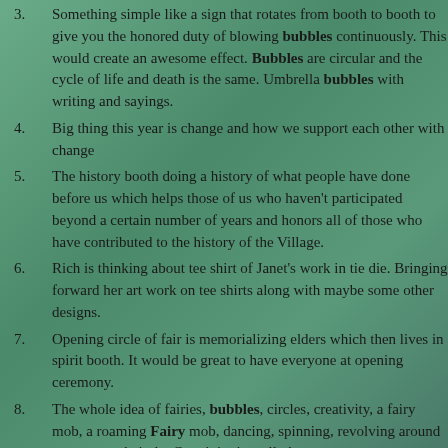3. Something simple like a sign that rotates from booth to booth to give you the honored duty of blowing bubbles continuously. This would create an awesome effect. Bubbles are circular and the cycle of life and death is the same. Umbrella bubbles with writing and sayings.
4. Big thing this year is change and how we support each other with change
5. The history booth doing a history of what people have done before us which helps those of us who haven't participated beyond a certain number of years and honors all of those who have contributed to the history of the Village.
6. Rich is thinking about tee shirt of Janet's work in tie die. Bringing forward her art work on tee shirts along with maybe some other designs.
7. Opening circle of fair is memorializing elders which then lives in spirit booth. It would be great to have everyone at opening ceremony.
8. The whole idea of fairies, bubbles, circles, creativity, a fairy mob, a roaming Fairy mob, dancing, spinning, revolving around some central circle. Creativity is really key
9. If we go with bubble thing we need to conscious of the environment and using one big thing of bubbles and environmentally friendly